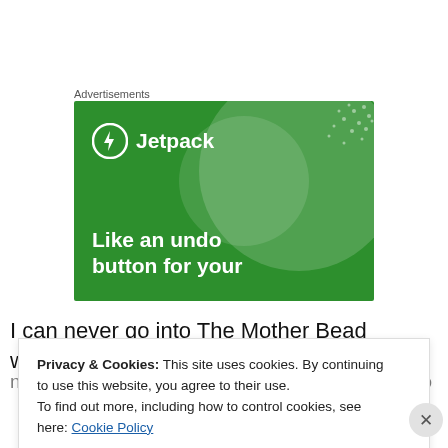Advertisements
[Figure (advertisement): Jetpack advertisement banner on green background with large semi-transparent circles and dot pattern. Shows Jetpack logo (lightning bolt icon) and text 'Like an undo button for your']
I can never go into The Mother Bead without seeing it all –
no quick stops in this store for me. They have also
Privacy & Cookies: This site uses cookies. By continuing to use this website, you agree to their use. To find out more, including how to control cookies, see here: Cookie Policy
Close and accept